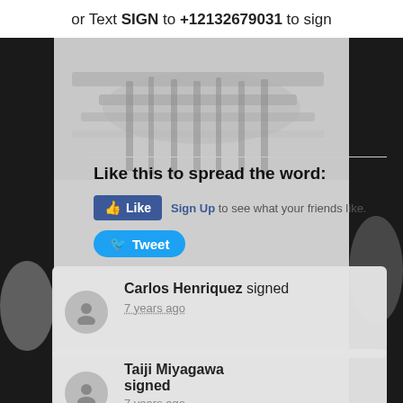or Text SIGN to +12132679031 to sign
[Figure (photo): Faded background image of protest signs or weapons/tools in grayscale]
Like this to spread the word:
[Figure (screenshot): Facebook Like button with 'Sign Up to see what your friends like.' text]
[Figure (screenshot): Twitter Tweet button]
Carlos Henriquez signed
7 years ago
Taiji Miyagawa signed
7 years ago